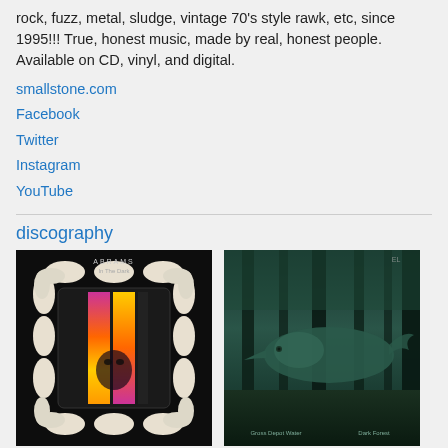rock, fuzz, metal, sludge, vintage 70's style rawk, etc, since 1995!!! True, honest music, made by real, honest people. Available on CD, vinyl, and digital.
smallstone.com
Facebook
Twitter
Instagram
YouTube
discography
[Figure (photo): Album cover: Abrams - In The Dark. Black background with psychedelic grid of white oval shapes arranged in a 3D cube pattern, with a colorful gradient panel (pink, orange, yellow) in the center showing a silhouetted face. Text at top reads 'ABRAMS In The Dark'.]
[Figure (photo): Album cover: forest scene with tall dark teal trees, a whale or large animal floating/emerging through the forest. Text at bottom reads 'Gross Depot Water' and 'Dark Forest'.]